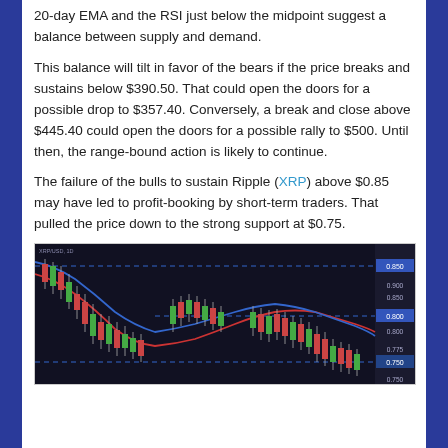20-day EMA and the RSI just below the midpoint suggest a balance between supply and demand.
This balance will tilt in favor of the bears if the price breaks and sustains below $390.50. That could open the doors for a possible drop to $357.40. Conversely, a break and close above $445.40 could open the doors for a possible rally to $500. Until then, the range-bound action is likely to continue.
The failure of the bulls to sustain Ripple (XRP) above $0.85 may have led to profit-booking by short-term traders. That pulled the price down to the strong support at $0.75.
[Figure (continuous-plot): Candlestick chart showing XRP/USD price action with moving average lines (red and blue), dashed horizontal support/resistance levels, and price labels on the right axis showing values around 0.750 to above 0.850.]